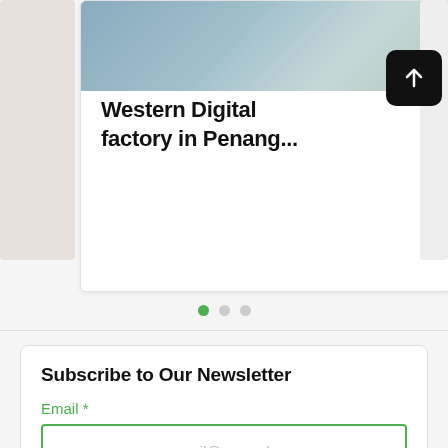[Figure (screenshot): Partial card on left edge, main article card with aerial photo of Western Digital factory in Penang, and partial card on right edge. A dark square button with upward arrow is overlaid top-right of main card.]
Western Digital factory in Penang...
[Figure (other): Three dot pagination indicators: first dot green (active), second and third grey]
Subscribe to Our Newsletter
Email *
e.g., email@example.com
Join